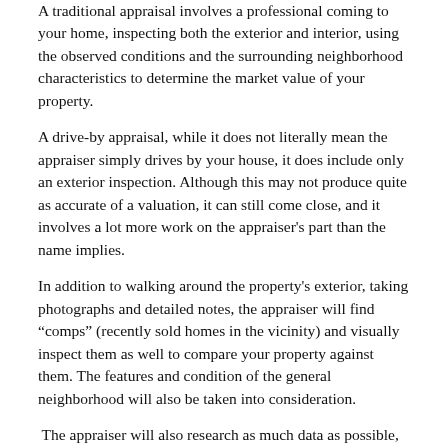A traditional appraisal involves a professional coming to your home, inspecting both the exterior and interior, using the observed conditions and the surrounding neighborhood characteristics to determine the market value of your property.
A drive-by appraisal, while it does not literally mean the appraiser simply drives by your house, it does include only an exterior inspection. Although this may not produce quite as accurate of a valuation, it can still come close, and it involves a lot more work on the appraiser's part than the name implies.
In addition to walking around the property's exterior, taking photographs and detailed notes, the appraiser will find “comps” (recently sold homes in the vicinity) and visually inspect them as well to compare your property against them. The features and condition of the general neighborhood will also be taken into consideration.
The appraiser will also research as much data as possible, including information like tax records, public records about the house, and MLS listings to get the most correct picture of the home’s worth.